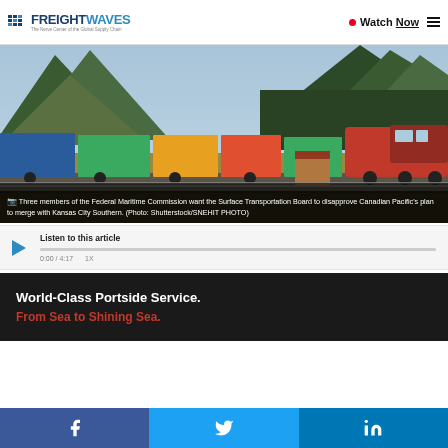FREIGHTWAVES — The Nerve Center of the Global Supply Chain | Watch Now
[Figure (photo): A Canadian Pacific freight train loaded with colorful intermodal containers traveling through a mountain valley with green forested mountains in the background and golden grassland in the foreground.]
Three members of the Federal Maritime Commission want the Surface Transportation Board to disapprove Canadian Pacific's plan to merge with Kansas City Southern. (Photo: Shutterstock/SNEHIT PHOTO)
Listen to this article
0:00 / 4:17    1X
[Figure (other): Advertisement banner: World-Class Portside Service. From Sea to Shining Sea.]
Facebook | Twitter | LinkedIn social share buttons